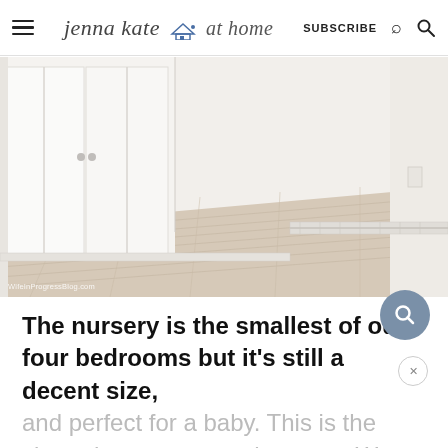jenna kate at home — SUBSCRIBE
[Figure (photo): Empty white nursery room with light wood laminate flooring, white bi-fold closet doors on the left, white walls, and a baseboard heater along the right wall. Watermark reads WifeInProgressBlog.com]
The nursery is the smallest of our four bedrooms but it's still a decent size, and perfect for a baby. This is the view when you enter the room. We thought